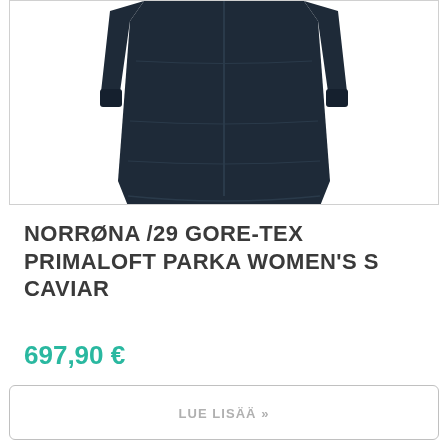[Figure (photo): Bottom portion of a dark navy women's parka/coat displayed against a white background, showing the lower body, sleeves and hemline of the garment.]
NORRØNA /29 GORE-TEX PRIMALOFT PARKA WOMEN'S S CAVIAR
697,90 €
LUE LISÄÄ »